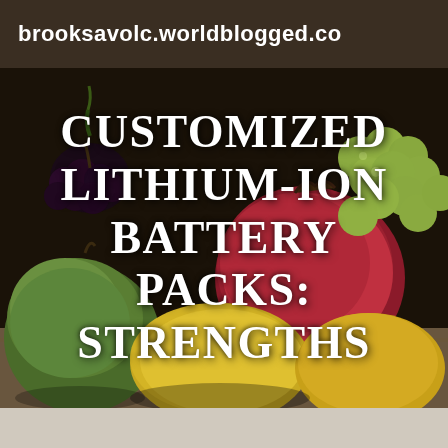brooksavolc.worldblogged.co
[Figure (photo): Dark background photo of assorted fruits including green grapes, dark grapes, a red pomegranate, green apple, and yellow lemons/citrus fruits arranged on a wooden surface]
CUSTOMIZED LITHIUM-ION BATTERY PACKS: STRENGTHS